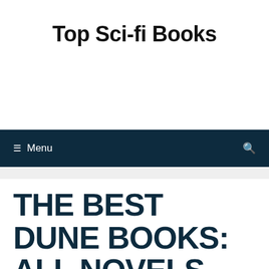Top Sci-fi Books
☰ Menu
THE BEST DUNE BOOKS: ALL NOVELS AND